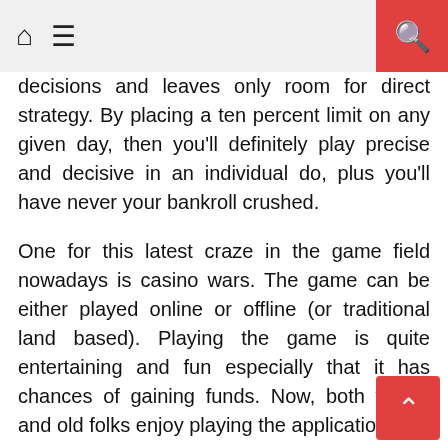Home | Menu | Search
decisions and leaves only room for direct strategy. By placing a ten percent limit on any given day, then you'll definitely play precise and decisive in an individual do, plus you'll have never your bankroll crushed.
One for this latest craze in the game field nowadays is casino wars. The game can be either played online or offline (or traditional land based). Playing the game is quite entertaining and fun especially that it has chances of gaining funds. Now, both young and old folks enjoy playing the application.
Gambling will end up serious if not given proper attention. Once this becomes a habit, it gets a hindrance to your relationships with others, especially with your ancestry. When this becomes severe, you is going to counseling to counteract your gambling